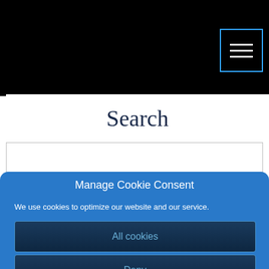[Figure (screenshot): Black header bar with hamburger menu icon in top-right corner, cyan border]
Search
Manage Cookie Consent
We use cookies to optimize our website and our service.
All cookies
Deny
Cookie policy